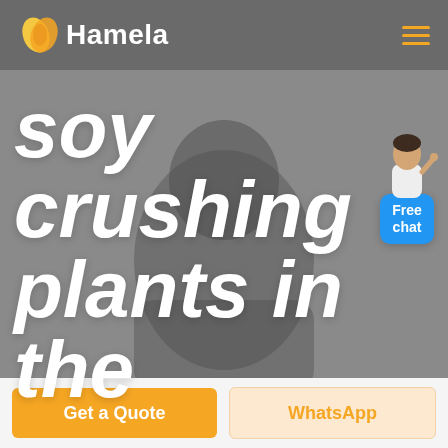[Figure (screenshot): Hamela website header with logo (orange bean/leaf icon and white 'Hamela' text) on gray background, hamburger menu icon (orange lines) top right]
soy crushing plants in the
[Figure (illustration): Free chat widget: a customer service person illustration above a blue rounded button labeled 'Free chat']
Get a Quote
WhatsApp